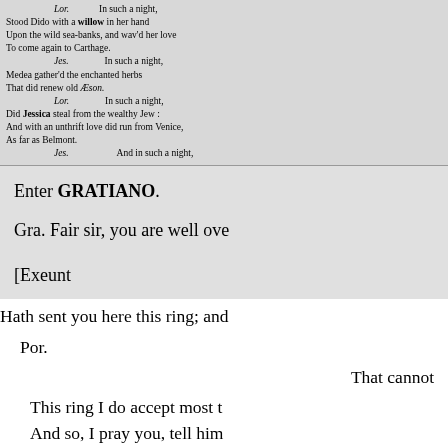Lor. In such a night, Stood Dido with a willow in her hand Upon the wild sea-banks, and wav'd her love To come again to Carthage. Jes. In such a night, Medea gather'd the enchanted herbs That did renew old Æson. Lor. In such a night, Did Jessica steal from the wealthy Jew: And with an unthrift love did run from Venice, As far as Belmont. Jes. And in such a night,
Enter GRATIANO.
Gra. Fair sir, you are well over
[Exeunt
Hath sent you here this ring; and
Por.
That cannot
This ring I do accept most t
And so, I pray you, tell him
pray you, show my youth o
Gra. That will I do.
Ner.
Sir, I would spe
I'll see if I can get my husba
Which I did make him swe